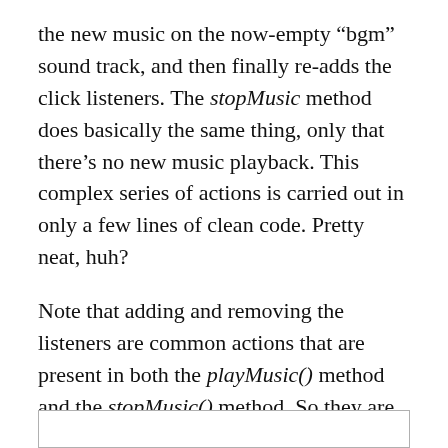the new music on the now-empty “bgm” sound track, and then finally re-adds the click listeners. The stopMusic method does basically the same thing, only that there’s no new music playback. This complex series of actions is carried out in only a few lines of clean code. Pretty neat, huh?
Note that adding and removing the listeners are common actions that are present in both the playMusic() method and the stopMusic() method. So they are factored out as two private properties, addListeners and removeListeners, initialized in the constructor.
[Figure (other): Empty code box with border at the bottom of the page]